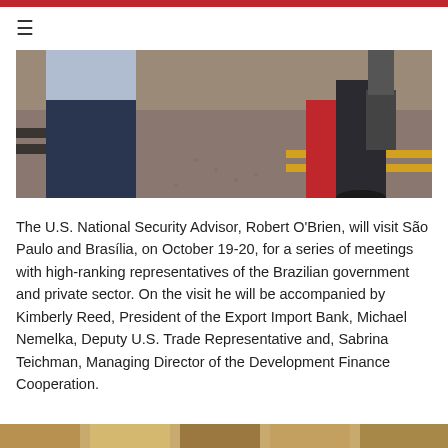[Figure (photo): Outdoor scene showing people standing on a tarmac with a red carpet, yellow striped lines on the ground, and gravel/pavement surface. Military/official reception setting.]
The U.S. National Security Advisor, Robert O'Brien, will visit São Paulo and Brasília, on October 19-20, for a series of meetings with high-ranking representatives of the Brazilian government and private sector. On the visit he will be accompanied by Kimberly Reed, President of the Export Import Bank, Michael Nemelka, Deputy U.S. Trade Representative and, Sabrina Teichman, Managing Director of the Development Finance Cooperation.
[Figure (photo): Partial bottom strip showing another photo below the article text.]